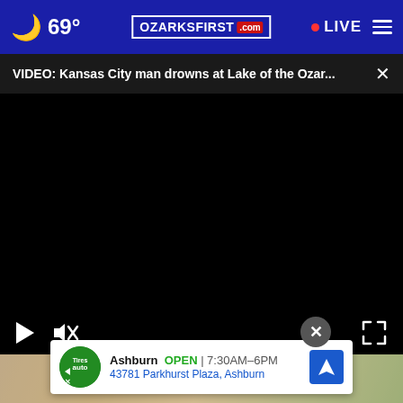69° OZARKSFIRST.com • LIVE
VIDEO: Kansas City man drowns at Lake of the Ozar... ×
[Figure (screenshot): Black video player area with play and mute controls at the bottom, and a fullscreen expand icon in the lower right corner.]
[Figure (photo): Background photo showing a kitchen scene with a glass and running water from a faucet.]
Ashburn OPEN 7:30AM–6PM 43781 Parkhurst Plaza, Ashburn